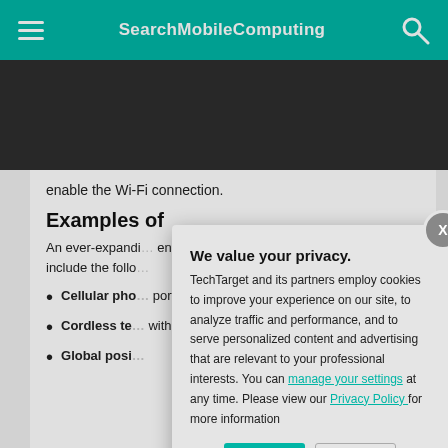SearchMobileComputing
enable the Wi-Fi connection.
Examples of
An ever-expanding list of wireless technology enables users to communicate without being constrained by wires. Common examples of wireless technology include the following:
Cellular phones: portable and [truncated] and business
Cordless telephones: within a home [truncated] with cordless
Global positioning systems (GPS)
We value your privacy.
TechTarget and its partners employ cookies to improve your experience on our site, to analyze traffic and performance, and to serve personalized content and advertising that are relevant to your professional interests. You can manage your settings at any time. Please view our Privacy Policy for more information